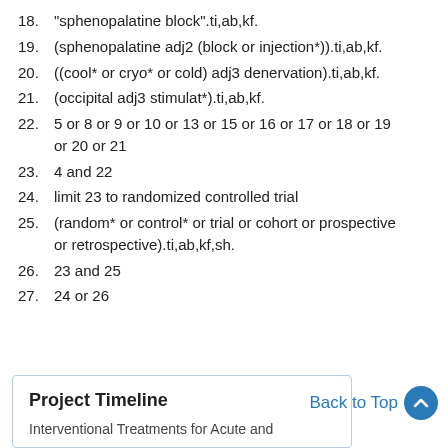18. "sphenopalatine block".ti,ab,kf.
19. (sphenopalatine adj2 (block or injection*)).ti,ab,kf.
20. ((cool* or cryo* or cold) adj3 denervation).ti,ab,kf.
21. (occipital adj3 stimulat*).ti,ab,kf.
22. 5 or 8 or 9 or 10 or 13 or 15 or 16 or 17 or 18 or 19 or 20 or 21
23. 4 and 22
24. limit 23 to randomized controlled trial
25. (random* or control* or trial or cohort or prospective or retrospective).ti,ab,kf,sh.
26. 23 and 25
27. 24 or 26
Project Timeline
Interventional Treatments for Acute and